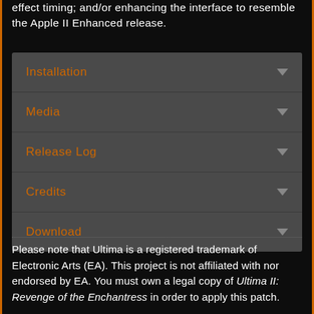effect timing; and/or enhancing the interface to resemble the Apple II Enhanced release.
Installation
Media
Release Log
Credits
Download
Please note that Ultima is a registered trademark of Electronic Arts (EA). This project is not affiliated with nor endorsed by EA. You must own a legal copy of Ultima II: Revenge of the Enchantress in order to apply this patch.